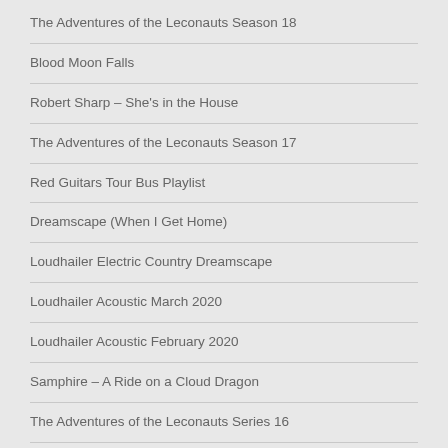The Adventures of the Leconauts Season 18
Blood Moon Falls
Robert Sharp – She's in the House
The Adventures of the Leconauts Season 17
Red Guitars Tour Bus Playlist
Dreamscape (When I Get Home)
Loudhailer Electric Country Dreamscape
Loudhailer Acoustic March 2020
Loudhailer Acoustic February 2020
Samphire – A Ride on a Cloud Dragon
The Adventures of the Leconauts Series 16
Perfect Combination IV An Acoustic East Coast Shakedown